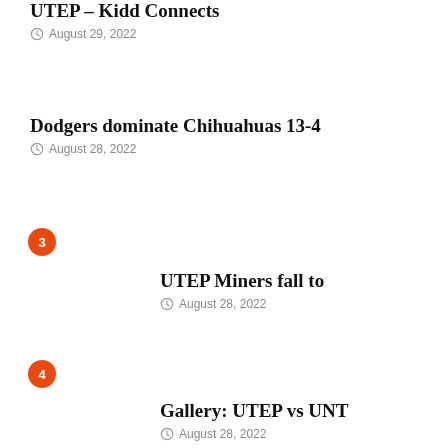UTEP – Kidd Connects
August 29, 2022
Dodgers dominate Chihuahuas 13-4
August 28, 2022
3
UTEP Miners fall to
August 28, 2022
4
Gallery: UTEP vs UNT
August 28, 2022